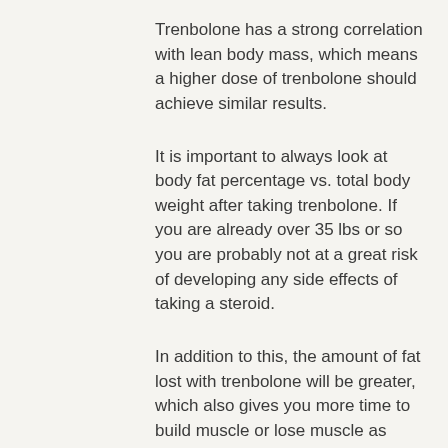Trenbolone has a strong correlation with lean body mass, which means a higher dose of trenbolone should achieve similar results.
It is important to always look at body fat percentage vs. total body weight after taking trenbolone. If you are already over 35 lbs or so you are probably not at a great risk of developing any side effects of taking a steroid.
In addition to this, the amount of fat lost with trenbolone will be greater, which also gives you more time to build muscle or lose muscle as needed.
If you are not at least 40 lbs overweight, and have lost the weight naturally you should not be taking testosterone-based drugs.
In fact, steroid use in your life is more likely